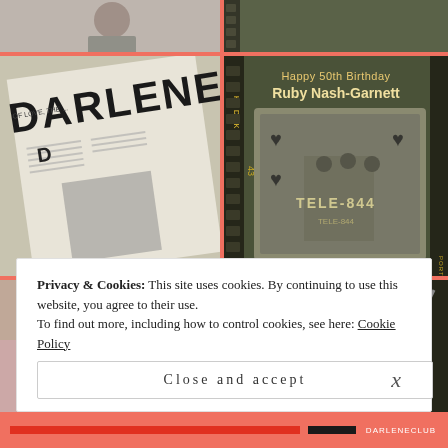[Figure (photo): Top-left photo, partially visible - appears to be a person in casual clothes]
[Figure (photo): Top-right photo with dark olive/green film strip background]
[Figure (photo): Middle-left: Open magazine showing 'DARLENE' title article with performance photo]
[Figure (photo): Middle-right: Kodak film strip style photo with text 'Happy 50th Birthday Ruby Nash-Garnett' and TV screen showing TELE-844 with group of performers and heart decorations]
[Figure (photo): Bottom-left: Black cat sleeping on pink bedding]
[Figure (photo): Bottom-right: Kodak film strip with text 'Watchout LP still works' and photo of a portable cassette/radio player]
Privacy & Cookies: This site uses cookies. By continuing to use this website, you agree to their use.
To find out more, including how to control cookies, see here: Cookie Policy
Close and accept